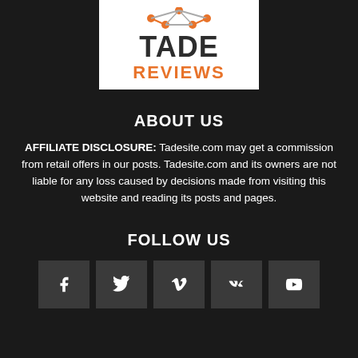[Figure (logo): Tade Reviews logo with orange network icon on white background, bold dark text TADE and orange text REVIEWS]
ABOUT US
AFFILIATE DISCLOSURE: Tadesite.com may get a commission from retail offers in our posts. Tadesite.com and its owners are not liable for any loss caused by decisions made from visiting this website and reading its posts and pages.
FOLLOW US
[Figure (infographic): Row of five social media icon buttons: Facebook, Twitter, Vimeo, VK, YouTube]